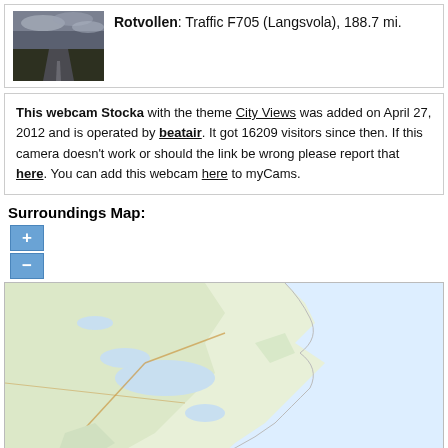[Figure (photo): Webcam thumbnail showing a dark road/traffic scene under cloudy sky at Rotvollen, F705 Langsvola]
Rotvollen: Traffic F705 (Langsvola), 188.7 mi.
This webcam Stocka with the theme City Views was added on April 27, 2012 and is operated by beatair. It got 16209 visitors since then. If this camera doesn't work or should the link be wrong please report that here. You can add this webcam here to myCams.
Surroundings Map:
[Figure (map): Interactive map surroundings showing terrain around Stocka webcam location, with zoom + and - controls, showing land/water terrain in muted yellow-green and light blue colors]